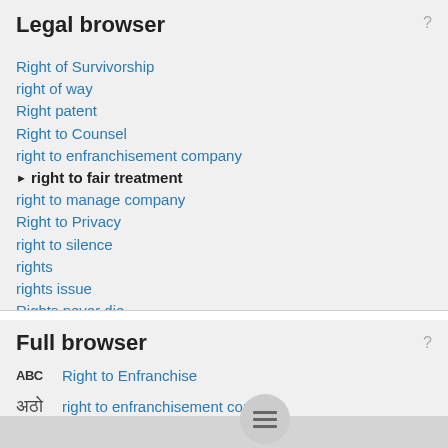Legal browser
Right of Survivorship
right of way
Right patent
Right to Counsel
right to enfranchisement company
▶ right to fair treatment
right to manage company
Right to Privacy
right to silence
rights
rights issue
Rights never die
Full browser
Right to Enfranchise
right to enfranchisement company